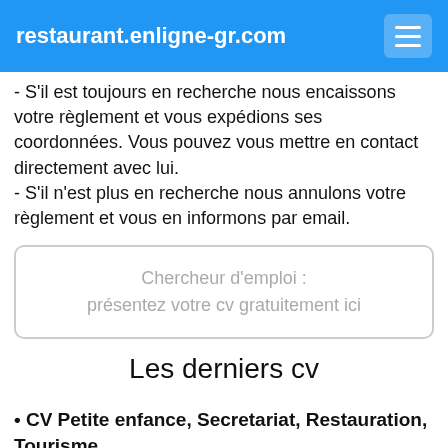restaurant.enligne-gr.com
- S'il est toujours en recherche nous encaissons votre règlement et vous expédions ses coordonnées. Vous pouvez vous mettre en contact directement avec lui.
- S'il n'est plus en recherche nous annulons votre règlement et vous en informons par email.
Chercheur d'emploi :
présentez votre cv gratuitement ici
Les derniers cv
• CV Petite enfance, Secretariat, Restauration, Tourisme
Employée, Employée petite enfance en créche et école maternelle, Employée en secrétariat,